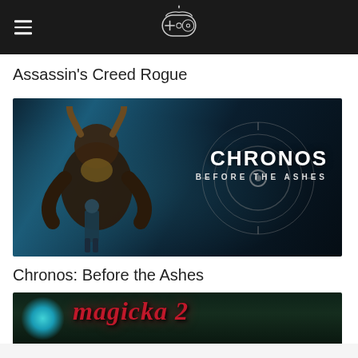Game controller icon with hamburger menu
Assassin's Creed Rogue
[Figure (photo): Chronos: Before the Ashes game banner showing a large horned monster and a small warrior, with the game title text 'CHRONOS BEFORE THE ASHES' overlaid]
Chronos: Before the Ashes
[Figure (photo): Magicka 2 game banner showing the game title in red stylized font against a dark fantasy background]